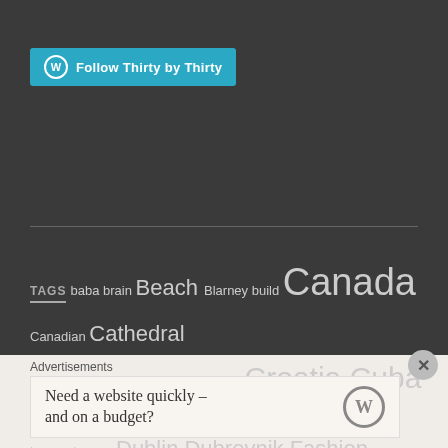Follow Thirty by Thirty
TAGS baba brain Beach Blarney build Canada Canadian Cathedral Grove Cave Communication cosplay Croatia Cuba Diving dog dream house dreams Dublin Dubrovnik Fashion food forgetful Fort McMurray fun Game of Thrones GoPro GoT Greece haiku Iceland Intrepid Ireland ISIS Jordan Kidzania Kotor Kuwait Macedonia Missing Home Montenegro moving Nature Netflix Oman Oops
Advertisements
Need a website quickly – and on a budget?